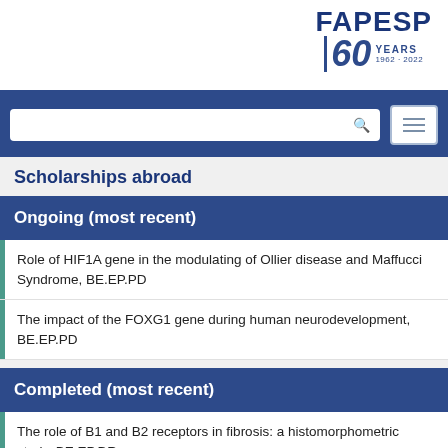[Figure (logo): FAPESP 60 Years 1962-2022 logo in top right corner]
Scholarships abroad
Ongoing (most recent)
Role of HIF1A gene in the modulating of Ollier disease and Maffucci Syndrome, BE.EP.PD
The impact of the FOXG1 gene during human neurodevelopment, BE.EP.PD
Completed (most recent)
The role of B1 and B2 receptors in fibrosis: a histomorphometric study, BE.EP.DR
Whole exome sequencing of patients with hereditary angioedema